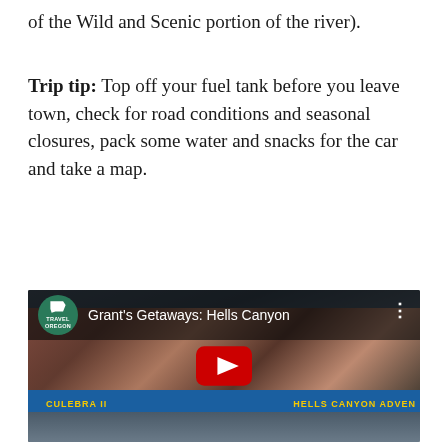of the Wild and Scenic portion of the river).
Trip tip: Top off your fuel tank before you leave town, check for road conditions and seasonal closures, pack some water and snacks for the car and take a map.
[Figure (screenshot): YouTube video thumbnail for 'Grant's Getaways: Hells Canyon' showing people on a jet boat labeled CULEBRA II and HELLS CANYON ADVENTURES with a red YouTube play button overlay and Travel Oregon logo.]